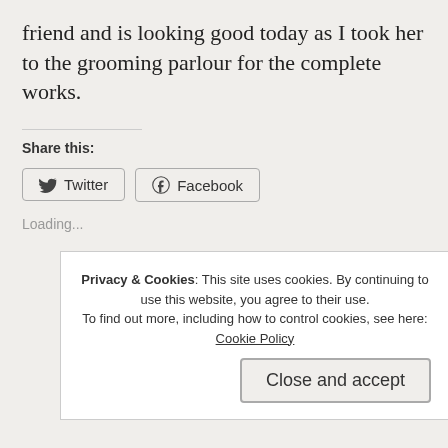friend and is looking good today as I took her to the grooming parlour for the complete works.
Share this:
Twitter
Facebook
Loading...
Privacy & Cookies: This site uses cookies. By continuing to use this website, you agree to their use. To find out more, including how to control cookies, see here: Cookie Policy
Close and accept